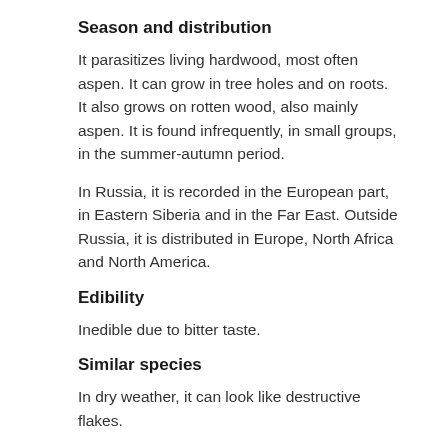Season and distribution
It parasitizes living hardwood, most often aspen. It can grow in tree holes and on roots. It also grows on rotten wood, also mainly aspen. It is found infrequently, in small groups, in the summer-autumn period.
In Russia, it is recorded in the European part, in Eastern Siberia and in the Far East. Outside Russia, it is distributed in Europe, North Africa and North America.
Edibility
Inedible due to bitter taste.
Similar species
In dry weather, it can look like destructive flakes.